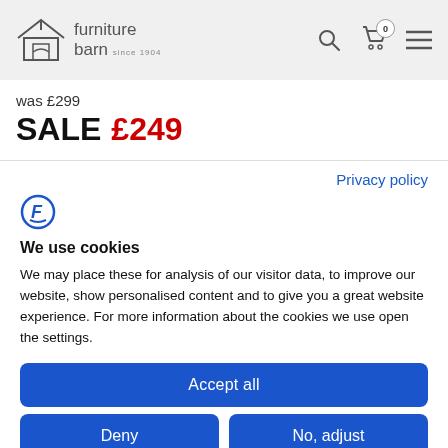furniture barn since 1904
was £299
SALE £249
Privacy policy
We use cookies
We may place these for analysis of our visitor data, to improve our website, show personalised content and to give you a great website experience. For more information about the cookies we use open the settings.
Accept all
Deny
No, adjust